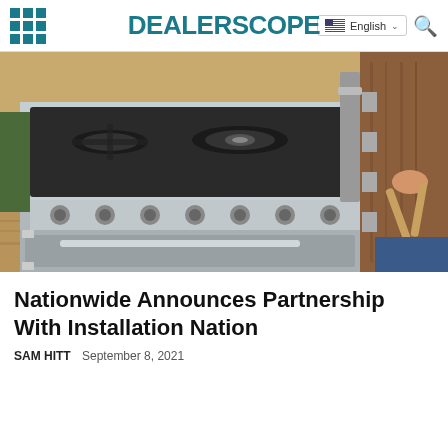DEALERSCOPE | English
[Figure (photo): A stainless steel professional range/stove being installed in a kitchen, with a person visible on the right side holding wooden tools, on a hardwood floor.]
Nationwide Announces Partnership With Installation Nation
SAM HITT  September 8, 2021